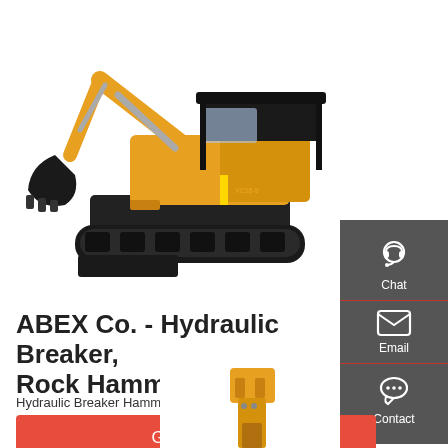[Figure (photo): Yellow and black mini excavator (YUCHAI VC16-9) on white background, shown in profile with bucket arm extended left and blade at front]
ABEX Co. - Hydraulic Breaker, Rock Hammer, Crusher
Hydraulic Breaker Hammer: The Ultimate Buying Guide
Get a quote
[Figure (photo): Partial view of yellow hydraulic breaker/rock hammer attachment at bottom of page]